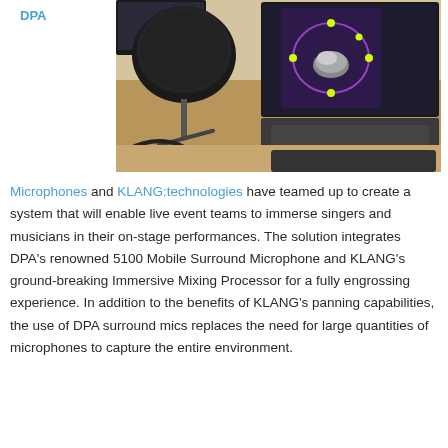DPA
[Figure (photo): A DPA 5100 Mobile Surround Microphone on a stand with cables on a wooden desk, next to a laptop displaying the KLANG:technologies immersive mixing software interface with a 3D sphere and yellow control points on a purple circular path. A monitor and keyboard are also visible in the background.]
Microphones and KLANG:technologies have teamed up to create a system that will enable live event teams to immerse singers and musicians in their on-stage performances. The solution integrates DPA’s renowned 5100 Mobile Surround Microphone and KLANG’s ground-breaking Immersive Mixing Processor for a fully engrossing experience. In addition to the benefits of KLANG’s panning capabilities, the use of DPA surround mics replaces the need for large quantities of microphones to capture the entire environment.